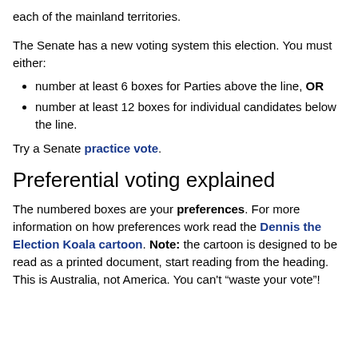each of the mainland territories.
The Senate has a new voting system this election. You must either:
number at least 6 boxes for Parties above the line, OR
number at least 12 boxes for individual candidates below the line.
Try a Senate practice vote.
Preferential voting explained
The numbered boxes are your preferences. For more information on how preferences work read the Dennis the Election Koala cartoon. Note: the cartoon is designed to be read as a printed document, start reading from the heading. This is Australia, not America. You can't “waste your vote”!